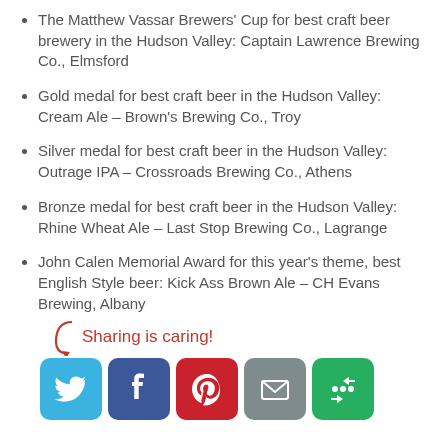The Matthew Vassar Brewers' Cup for best craft beer brewery in the Hudson Valley: Captain Lawrence Brewing Co., Elmsford
Gold medal for best craft beer in the Hudson Valley: Cream Ale – Brown's Brewing Co., Troy
Silver medal for best craft beer in the Hudson Valley: Outrage IPA – Crossroads Brewing Co., Athens
Bronze medal for best craft beer in the Hudson Valley: Rhine Wheat Ale – Last Stop Brewing Co., Lagrange
John Calen Memorial Award for this year's theme, best English Style beer: Kick Ass Brown Ale – CH Evans Brewing, Albany
[Figure (infographic): Sharing is caring! text with a red arrow pointing to social media sharing buttons: Twitter (blue), Facebook (dark blue), Pinterest (red), Email (grey), More (green)]